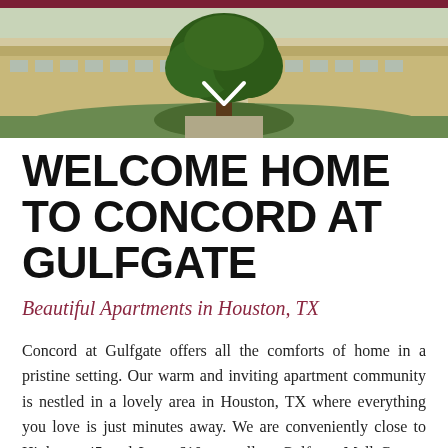[Figure (photo): Exterior photo of Concord at Gulfgate apartment community showing beige/tan low-rise buildings with green landscaping and a large tree in the foreground, with a white downward chevron arrow overlay]
WELCOME HOME TO CONCORD AT GULFGATE
Beautiful Apartments in Houston, TX
Concord at Gulfgate offers all the comforts of home in a pristine setting. Our warm and inviting apartment community is nestled in a lovely area in Houston, TX where everything you love is just minutes away. We are conveniently close to Highway 45 and Loop 610 as well as Gulfgate Mall Center, fine dining, and entertainment. It's time you pampered yourself with